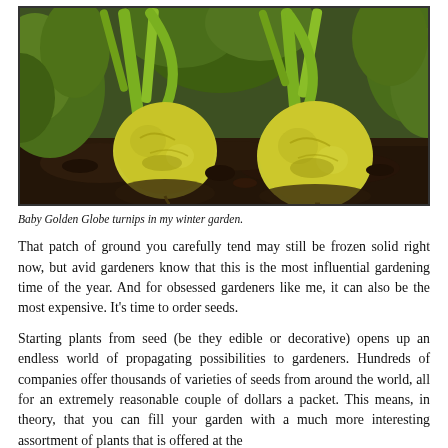[Figure (photo): Close-up photograph of two Baby Golden Globe turnips growing in dark soil, with green leafy tops visible above ground.]
Baby Golden Globe turnips in my winter garden.
That patch of ground you carefully tend may still be frozen solid right now, but avid gardeners know that this is the most influential gardening time of the year. And for obsessed gardeners like me, it can also be the most expensive. It's time to order seeds.
Starting plants from seed (be they edible or decorative) opens up an endless world of propagating possibilities to gardeners. Hundreds of companies offer thousands of varieties of seeds from around the world, all for an extremely reasonable couple of dollars a packet. This means, in theory, that you can fill your garden with a much more interesting assortment of plants that is offered at the